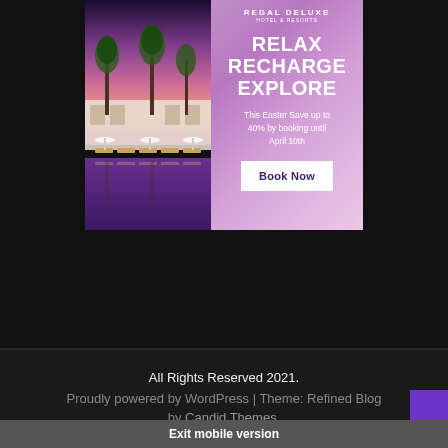[Figure (photo): Hotel/resort pool area at sunset with palm trees and lounge chairs reflected in the pool, pink and purple sky, white umbrellas]
[Figure (infographic): Advertisement banner for Regal Deluxe Hotel & Resorts with pink/purple gradient background. Text: RELAX RECHARGE EXPLORE. This Easter Save up to 40% by booking until April 10th. Book Now button.]
All Rights Reserved 2021.
Proudly powered by WordPress | Theme: Refined Blog by Candid Themes.